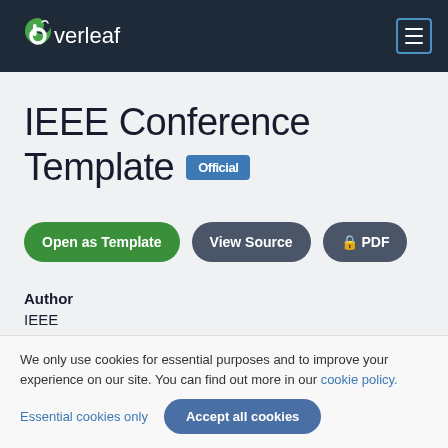Overleaf
IEEE Conference Template Official
[Figure (other): Three buttons: 'Open as Template' (green), 'View Source' (dark gray), '🔒 PDF' (dark gray)]
Author
IEEE
We only use cookies for essential purposes and to improve your experience on our site. You can find out more in our cookie policy.
Essential cookies only   Accept all cookies